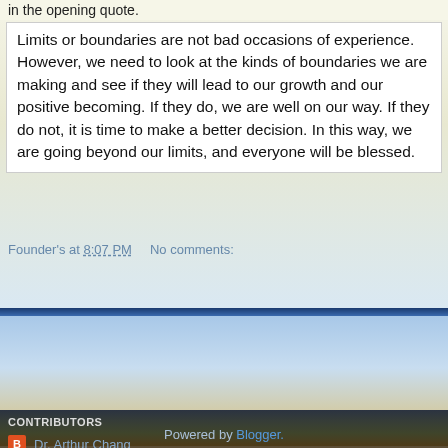in the opening quote.
Limits or boundaries are not bad occasions of experience. However, we need to look at the kinds of boundaries we are making and see if they will lead to our growth and our positive becoming. If they do, we are well on our way. If they do not, it is time to make a better decision. In this way, we are going beyond our limits, and everyone will be blessed.
Founder's at 8:07 PM   No comments:
Share
Home
View web version
CONTRIBUTORS
Dr. Arthur Chang
Founder's
Powered by Blogger.